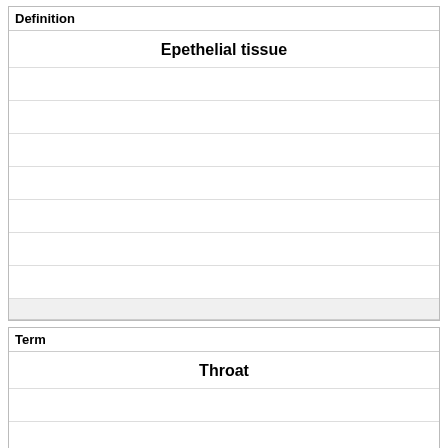| Definition |
| --- |
| Epethelial tissue |
|  |
|  |
|  |
|  |
|  |
|  |
|  |
| Term |
| --- |
| Throat |
|  |
|  |
|  |
|  |
|  |
|  |